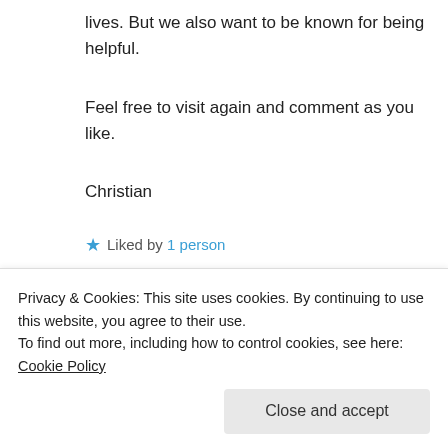lives. But we also want to be known for being helpful.
Feel free to visit again and comment as you like.
Christian
★ Liked by 1 person
↪ Reply
Patti Clark on July 23, 2013 at 4:14 am
Privacy & Cookies: This site uses cookies. By continuing to use this website, you agree to their use.
To find out more, including how to control cookies, see here: Cookie Policy